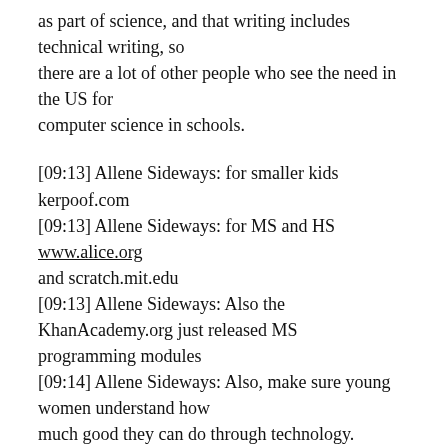as part of science, and that writing includes technical writing, so there are a lot of other people who see the need in the US for computer science in schools.
[09:13] Allene Sideways: for smaller kids kerpoof.com
[09:13] Allene Sideways: for MS and HS www.alice.org and scratch.mit.edu
[09:13] Allene Sideways: Also the KhanAcademy.org just released MS programming modules
[09:14] Allene Sideways: Also, make sure young women understand how much good they can do through technology.
[09:14] BELOVEDROX: Thank you , what a great program. How are you